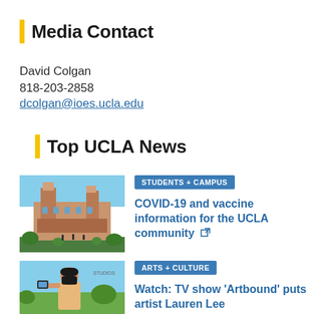Media Contact
David Colgan
818-203-2858
dcolgan@ioes.ucla.edu
Top UCLA News
[Figure (photo): Photo of UCLA Royce Hall building with blue sky and greenery in foreground]
STUDENTS + CAMPUS
COVID-19 and vaccine information for the UCLA community
[Figure (photo): Photo of a person wearing a black mask holding a phone or camera outdoors]
ARTS + CULTURE
Watch: TV show 'Artbound' puts artist Lauren Lee